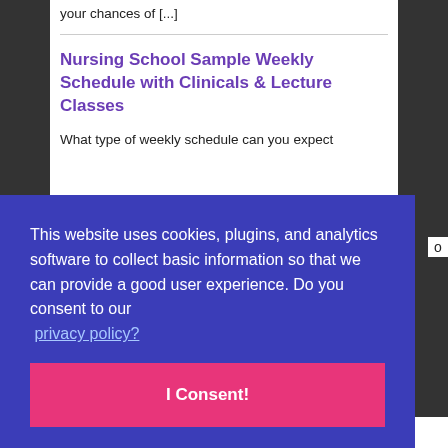going to give you 6 tips on how you can increase your chances of [...]
Nursing School Sample Weekly Schedule with Clinicals & Lecture Classes
What type of weekly schedule can you expect
This website uses cookies, plugins, and analytics software to collect basic information so that we can provide a good user experience. Do you consent to our privacy policy?
I Consent!
Forum Post: What Pre Reqs do I need for my RN